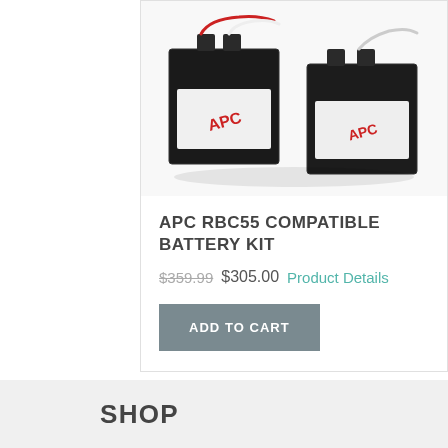[Figure (photo): Two APC RBC55 compatible battery units, black cube-shaped batteries with white APC labels and red/white wires on top]
APC RBC55 COMPATIBLE BATTERY KIT
$359.99 $305.00 Product Details
ADD TO CART
SHOP